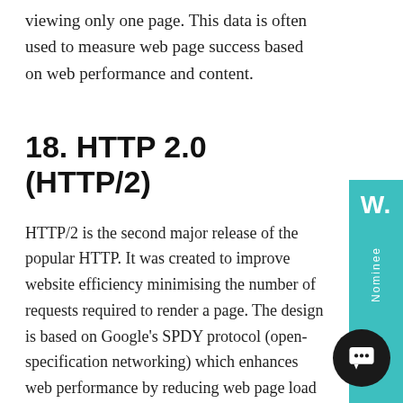viewing only one page. This data is often used to measure web page success based on web performance and content.
18. HTTP 2.0 (HTTP/2)
HTTP/2 is the second major release of the popular HTTP. It was created to improve website efficiency minimising the number of requests required to render a page. The design is based on Google's SPDY protocol (open-specification networking) which enhances web performance by reducing web page load latency.
19. Domain Name Server